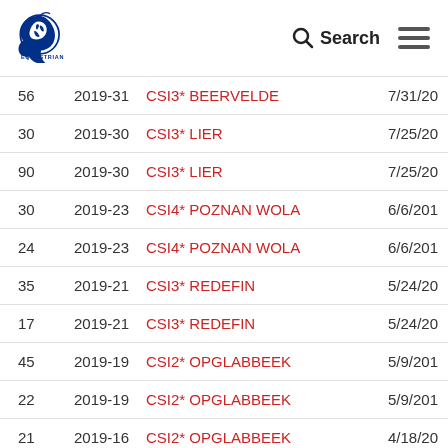US Equestrian — Search / Menu
| # | Code | Name | Date |
| --- | --- | --- | --- |
| 56 | 2019-31 | CSI3* BEERVELDE | 7/31/20 |
| 30 | 2019-30 | CSI3* LIER | 7/25/20 |
| 90 | 2019-30 | CSI3* LIER | 7/25/20 |
| 30 | 2019-23 | CSI4* POZNAN WOLA | 6/6/201 |
| 24 | 2019-23 | CSI4* POZNAN WOLA | 6/6/201 |
| 35 | 2019-21 | CSI3* REDEFIN | 5/24/20 |
| 17 | 2019-21 | CSI3* REDEFIN | 5/24/20 |
| 45 | 2019-19 | CSI2* OPGLABBEEK | 5/9/201 |
| 22 | 2019-19 | CSI2* OPGLABBEEK | 5/9/201 |
| 21 | 2019-16 | CSI2* OPGLABBEEK | 4/18/20 |